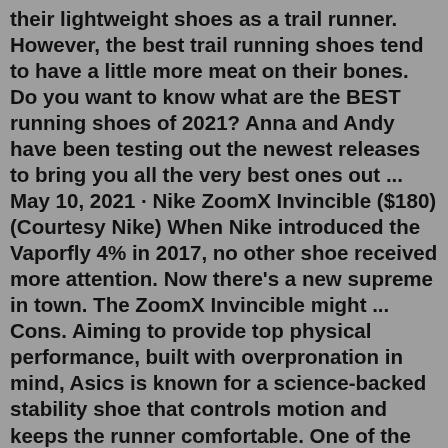their lightweight shoes as a trail runner. However, the best trail running shoes tend to have a little more meat on their bones. Do you want to know what are the BEST running shoes of 2021? Anna and Andy have been testing out the newest releases to bring you all the very best ones out ... May 10, 2021 · Nike ZoomX Invincible ($180) (Courtesy Nike) When Nike introduced the Vaporfly 4% in 2017, no other shoe received more attention. Now there's a new supreme in town. The ZoomX Invincible might ... Cons. Aiming to provide top physical performance, built with overpronation in mind, Asics is known for a science-backed stability shoe that controls motion and keeps the runner comfortable. One of the best stability running shoes from Asics is their Gel Kayano 28.Nike Pegasus: This shoe is a workhorse with wings. Its reconstructed upper features a softer layered mesh, expanded toe box, and improved midfoot lockdown that combines with springy Nike React foam and Zoom Air units in the forefoot for durable performance. Nike Zoom Fly: Faster training runs